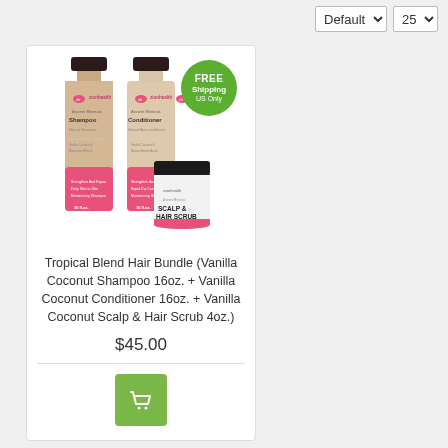[Figure (screenshot): Dropdown controls for sort order (Default) and items per page (25) at top right of product listing page]
[Figure (photo): Zion Health Tropical Blend Hair Bundle product image showing two tall bottles (Shampoo and Conditioner) and a small jar (Scalp & Hair Scrub), with a green 'FREE Shipping US Only' badge]
Tropical Blend Hair Bundle (Vanilla Coconut Shampoo 16oz. + Vanilla Coconut Conditioner 16oz. + Vanilla Coconut Scalp & Hair Scrub 4oz.)
$45.00